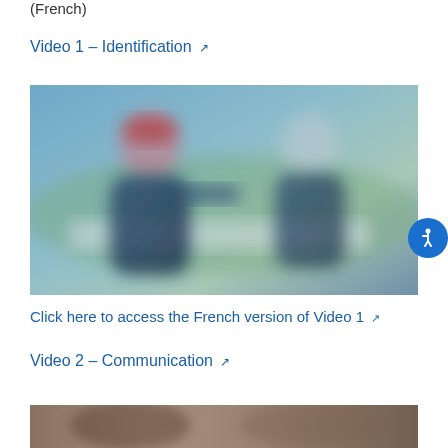(French)
Video 1 – Identification ↗
[Figure (photo): Blurred/pixelated outdoor scene showing two people facing each other, with a blue-teal color tone. The image appears to be a still frame from a training video about identification.]
Click here to access the French version of Video 1 ↗
Video 2 – Communication ↗
[Figure (photo): Partial view of another blurred video frame visible at the bottom of the page.]